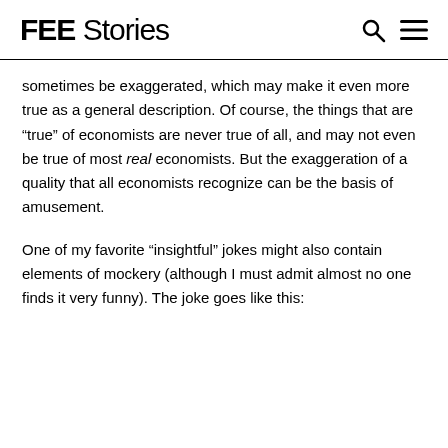FEE Stories
sometimes be exaggerated, which may make it even more true as a general description. Of course, the things that are “true” of economists are never true of all, and may not even be true of most real economists. But the exaggeration of a quality that all economists recognize can be the basis of amusement.
One of my favorite “insightful” jokes might also contain elements of mockery (although I must admit almost no one finds it very funny). The joke goes like this: